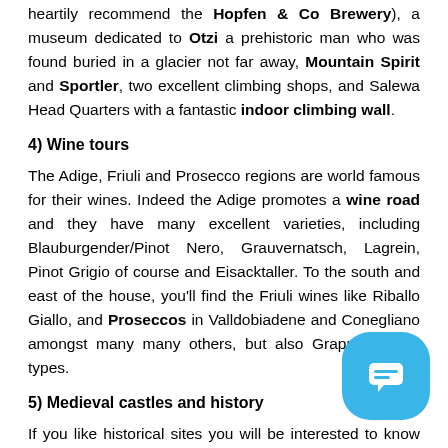heartily recommend the Hopfen & Co Brewery), a museum dedicated to Otzi a prehistoric man who was found buried in a glacier not far away, Mountain Spirit and Sportler, two excellent climbing shops, and Salewa Head Quarters with a fantastic indoor climbing wall.
4) Wine tours
The Adige, Friuli and Prosecco regions are world famous for their wines. Indeed the Adige promotes a wine road and they have many excellent varieties, including Blauburgender/Pinot Nero, Grauvernatsch, Lagrein, Pinot Grigio of course and Eisacktaller. To the south and east of the house, you'll find the Friuli wines like Riballo Giallo, and Proseccos in Valldobiadene and Conegliano amongst many many others, but also Grappa's of all types.
5) Medieval castles and history
If you like historical sites you will be interested to know that during the middle ages the entire region as far as Milan was